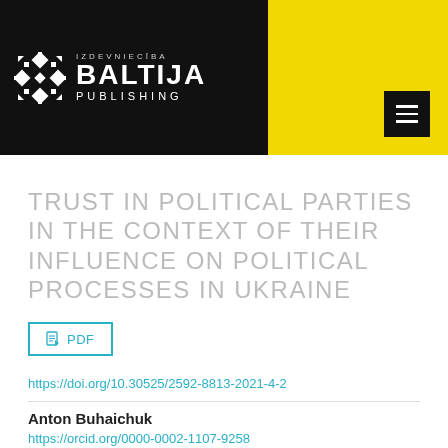[Figure (logo): Izdevnieciba Baltija Publishing logo on black and yellow header banner with hamburger menu button]
TRUST IN POLITICAL PARTIES IN THE CONTEXT OF THEIR INFLUENCE ON POLITICAL PROCESSES IN UKRAINE
PDF
https://doi.org/10.30525/2592-8813-2021-4-2
Anton Buhaichuk
https://orcid.org/0000-0002-1107-9258